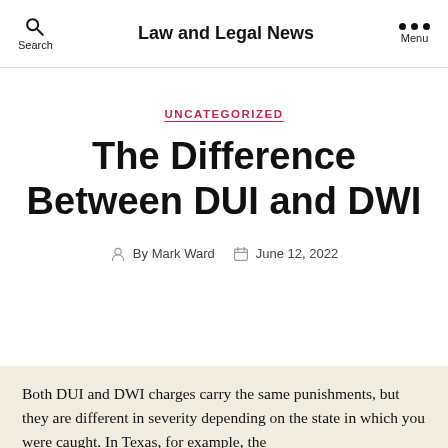Law and Legal News
UNCATEGORIZED
The Difference Between DUI and DWI
By Mark Ward   June 12, 2022
Both DUI and DWI charges carry the same punishments, but they are different in severity depending on the state in which you were caught. In Texas, for example, the